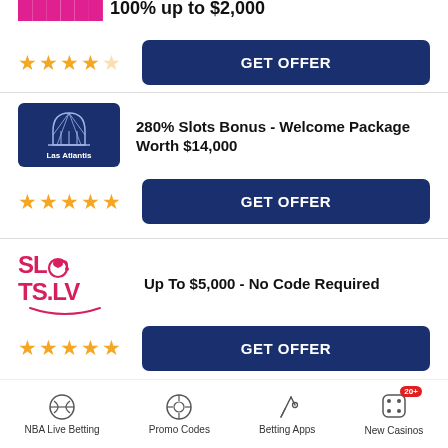[Figure (other): Partial top card with pink/red brand logo and text cut off showing '100% up to $2,000' style offer, 4-star rating, and GET OFFER button]
[Figure (logo): Las Atlantis casino logo - dark navy blue rectangle with dome/arch graphic and white text 'Las Atlantis']
280% Slots Bonus - Welcome Package Worth $14,000
GET OFFER
[Figure (logo): SLOTS.LV logo in bold pink/red text with stylized slot machine O icon]
Up To $5,000 - No Code Required
GET OFFER
NBA Live Betting | Promo Codes | Betting Apps | New Casinos 20+